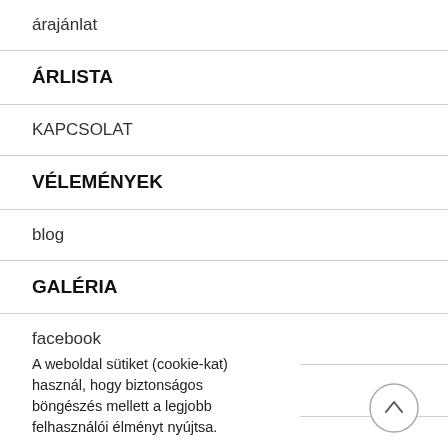árajánlat
ÁRLISTA
KAPCSOLAT
VÉLEMÉNYEK
blog
GALÉRIA
facebook
instagram
A weboldal sütiket (cookie-kat) használ, hogy biztonságos böngészés mellett a legjobb felhasználói élményt nyújtsa.